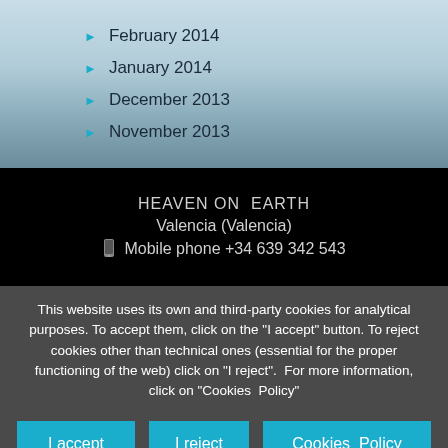February 2014
January 2014
December 2013
November 2013
HEAVEN ON  EARTH
Valencia (Valencia)
Mobile phone +34 639 342 543
This website uses its own and third-party cookies for analytical purposes. To accept them, click on the "I accept" button. To reject cookies other than technical ones (essential for the proper functioning of the web) click on "I reject".  For more information, click on "Cookies  Policy"
I accept
I reject
Cookies  Policy